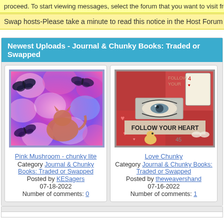proceed. To start viewing messages, select the forum that you want to visit from
Swap hosts-Please take a minute to read this notice in the Host Forum http://w
Newest Uploads - Journal & Chunky Books: Traded or Swapped
[Figure (photo): Pink Mushroom chunky lite artwork: colorful pink/purple floral background with butterfly silhouettes and a cat silhouette]
Pink Mushroom - chunky lite
Category Journal & Chunky Books: Traded or Swapped
Posted by KESagers
07-18-2022
Number of comments: 0
[Figure (photo): Love Chunky artwork: red collage with eye photo, playing card, Follow Your Heart text, hearts and bird illustrations]
Love Chunky
Category Journal & Chunky Books: Traded or Swapped
Posted by theweavershand
07-16-2022
Number of comments: 1